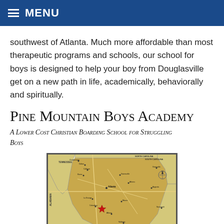MENU
southwest of Atlanta. Much more affordable than most therapeutic programs and schools, our school for boys is designed to help your boy from Douglasville get on a new path in life, academically, behaviorally and spiritually.
Pine Mountain Boys Academy
A Lower Cost Christian Boarding School for Struggling Boys
[Figure (map): Map of Georgia state showing location of Pine Mountain Boys Academy marked with a red star, southwest of Atlanta. The map shows surrounding states Tennessee, North Carolina, South Carolina, and parts of Alabama and Florida, with various cities labeled.]